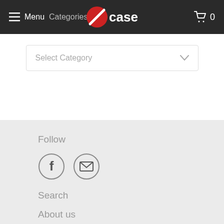Menu  Categories  case  0
Select Category
Follow
[Figure (illustration): Facebook icon circle and email/envelope icon circle]
Search
About us
Terms of Use